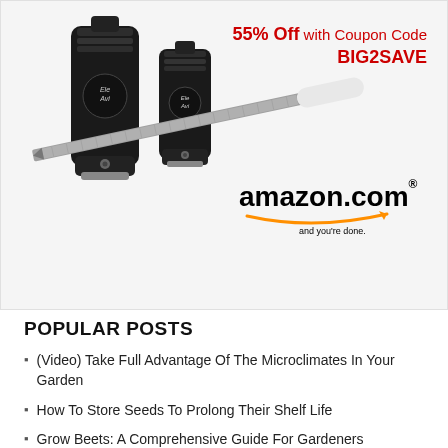[Figure (photo): Advertisement showing nail clippers set (two black EleAvi nail clippers and a metal nail file) with Amazon.com logo and a 55% off coupon code promotion.]
POPULAR POSTS
(Video) Take Full Advantage Of The Microclimates In Your Garden
How To Store Seeds To Prolong Their Shelf Life
Grow Beets: A Comprehensive Guide For Gardeners